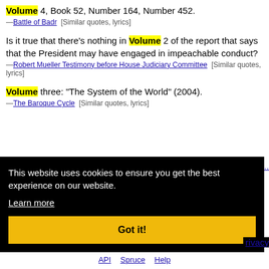Volume 4, Book 52, Number 164, Number 452. —Battle of Badr [Similar quotes, lyrics]
Is it true that there's nothing in Volume 2 of the report that says that the President may have engaged in impeachable conduct? —Robert Mueller Testimony before House Judiciary Committee [Similar quotes, lyrics]
Volume three: "The System of the World" (2004). —The Baroque Cycle [Similar quotes, lyrics]
This website uses cookies to ensure you get the best experience on our website. Learn more Got it!